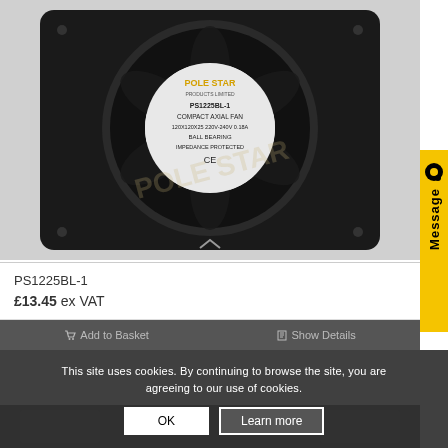[Figure (photo): Pole Star PS1225BL-1 compact axial fan, black square frame with circular fan blade, label reads: POLE STAR PRODUCTS LIMITED, PS1225BL-1, COMPACT AXIAL FAN, 120X120X25 220V-240V 0.18A, BALL BEARING, IMPEDANCE PROTECTED, CE mark. Watermark overlay visible.]
PS1225BL-1
£13.45 ex VAT
Add to Basket
Show Details
This site uses cookies. By continuing to browse the site, you are agreeing to our use of cookies.
OK
Learn more